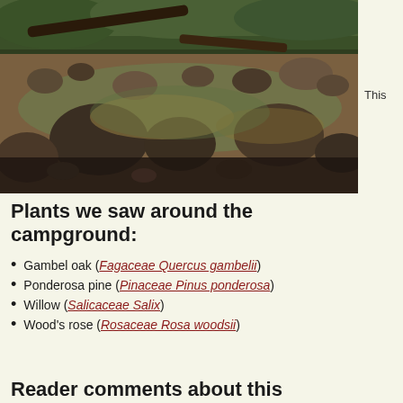[Figure (photo): Photograph of a rocky creek bed with stones, shallow water, fallen logs, and forest vegetation in the background]
This
Plants we saw around the campground:
Gambel oak (Fagaceae Quercus gambelii)
Ponderosa pine (Pinaceae Pinus ponderosa)
Willow (Salicaceae Salix)
Wood's rose (Rosaceae Rosa woodsii)
Reader comments about this